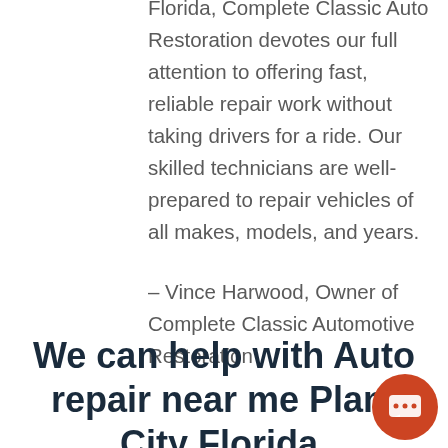Florida, Complete Classic Auto Restoration devotes our full attention to offering fast, reliable repair work without taking drivers for a ride. Our skilled technicians are well-prepared to repair vehicles of all makes, models, and years.
– Vince Harwood, Owner of Complete Classic Automotive Restoration
We can help with Auto repair near me Plant City Florida.
[Figure (illustration): Orange circular chat button with speech bubble icon in the bottom right corner]